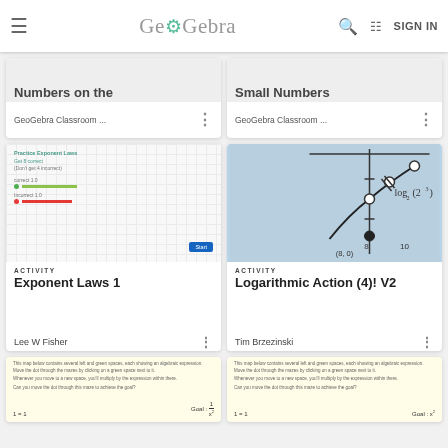GeoGebra — SIGN IN
[Figure (screenshot): Partially visible card with text 'Numbers on the' and source 'GeoGebra Classroom ...']
[Figure (screenshot): Partially visible card with text 'Small Numbers' and source 'GeoGebra Classroom ...']
[Figure (screenshot): Activity card thumbnail showing Exponent Laws practice interface with green and red progress bars and Start button]
ACTIVITY
Exponent Laws 1
Lee W Fisher
[Figure (screenshot): Activity card thumbnail showing logarithmic graph with log base 2 of 2 cubed, point (8,0) marked]
ACTIVITY
Logarithmic Action (4)! V2
Tim Brzezinski
[Figure (screenshot): Bottom partial card with yellow background showing algebraic expression activity, Goal: 1/x^2]
[Figure (screenshot): Bottom partial card with yellow background showing algebraic expression activity, Goal: x^2]